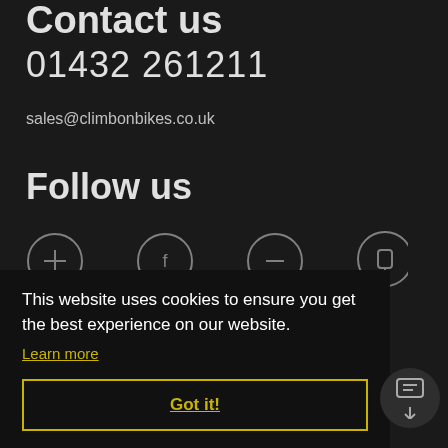Contact us
01432 261211
sales@climbonbikes.co.uk
Follow us
[Figure (illustration): Four social media icon circles (partially visible) in a row on a dark background]
This website uses cookies to ensure you get the best experience on our website.
Learn more
Got it!
Sunday: Closed